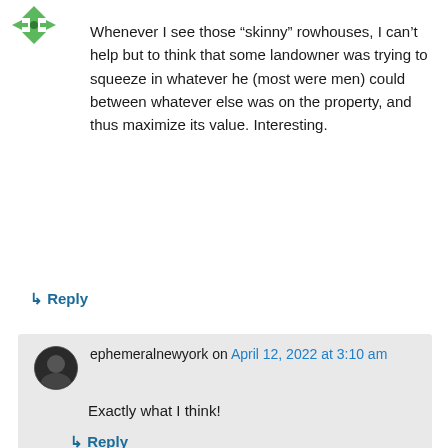[Figure (illustration): Green avatar icon with arrows]
Whenever I see those “skinny” rowhouses, I can’t help but to think that some landowner was trying to squeeze in whatever he (most were men) could between whatever else was on the property, and thus maximize its value. Interesting.
↳ Reply
[Figure (photo): Small circular avatar photo of ephemeralnewyork]
ephemeralnewyork on April 12, 2022 at 3:10 am
Exactly what I think!
↳ Reply